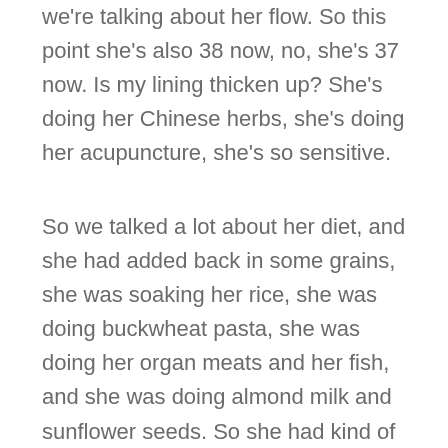we're talking about her flow. So this point she's also 38 now, no, she's 37 now. Is my lining thicken up? She's doing her Chinese herbs, she's doing her acupuncture, she's so sensitive.
So we talked a lot about her diet, and she had added back in some grains, she was soaking her rice, she was doing buckwheat pasta, she was doing her organ meats and her fish, and she was doing almond milk and sunflower seeds. So she had kind of added some things back in, which also made me think, maybe that was part of the issue. The matcha causes too much heat, she stopped that. So she's very